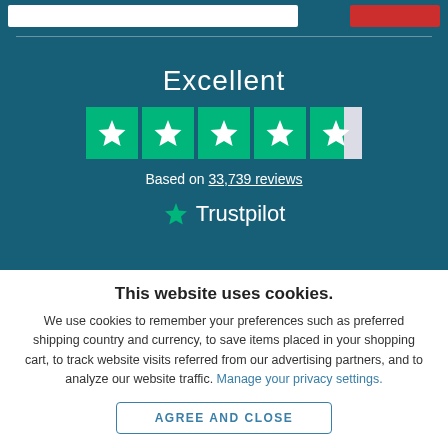[Figure (screenshot): Top navigation bar with white search box and red button on dark teal background]
[Figure (infographic): Trustpilot rating widget showing 'Excellent' with 4.5 stars and 33,739 reviews on dark teal background]
This website uses cookies.
We use cookies to remember your preferences such as preferred shipping country and currency, to save items placed in your shopping cart, to track website visits referred from our advertising partners, and to analyze our website traffic. Manage your privacy settings.
AGREE AND CLOSE